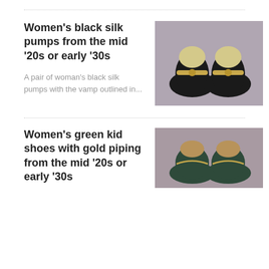Women's black silk pumps from the mid '20s or early '30s
A pair of woman's black silk pumps with the vamp outlined in...
[Figure (photo): Photograph of a pair of black silk women's pumps with gold strap detail, viewed from above on a grey background]
Women's green kid shoes with gold piping from the mid '20s or early '30s
[Figure (photo): Photograph of a pair of green women's shoes with gold piping, viewed from above on a grey background]